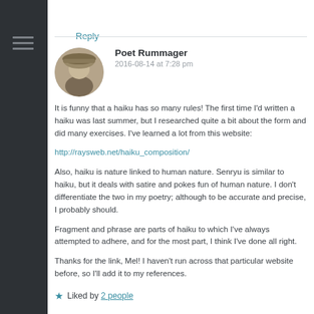Reply
Poet Rummager
2016-08-14 at 7:28 pm
It is funny that a haiku has so many rules! The first time I'd written a haiku was last summer, but I researched quite a bit about the form and did many exercises. I've learned a lot from this website:
http://raysweb.net/haiku_composition/
Also, haiku is nature linked to human nature. Senryu is similar to haiku, but it deals with satire and pokes fun of human nature. I don't differentiate the two in my poetry; although to be accurate and precise, I probably should.
Fragment and phrase are parts of haiku to which I've always attempted to adhere, and for the most part, I think I've done all right.
Thanks for the link, Mel! I haven't run across that particular website before, so I'll add it to my references.
★ Liked by 2 people